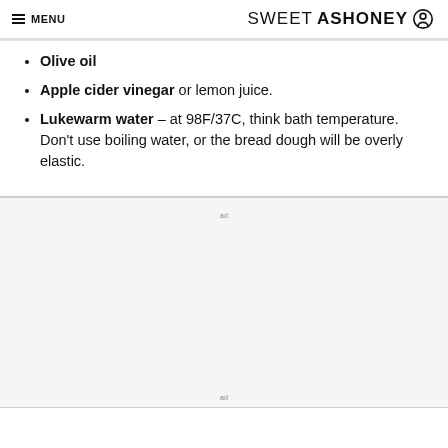≡ MENU   SWEETASHONEY
Olive oil
Apple cider vinegar or lemon juice.
Lukewarm water – at 98F/37C, think bath temperature. Don't use boiling water, or the bread dough will be overly elastic.
[Figure (other): Advertisement placeholder box with 'ad' label text, light gray background]